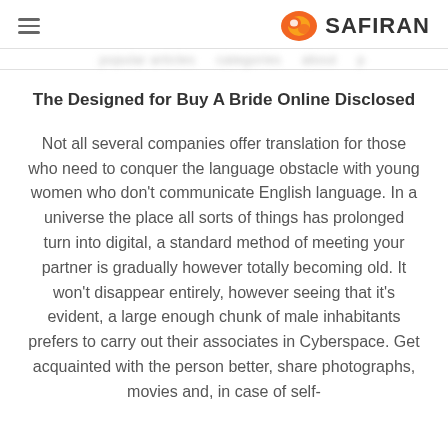≡   SAFIRAN
(blurred navigation text)
The Designed for Buy A Bride Online Disclosed
Not all several companies offer translation for those who need to conquer the language obstacle with young women who don't communicate English language. In a universe the place all sorts of things has prolonged turn into digital, a standard method of meeting your partner is gradually however totally becoming old. It won't disappear entirely, however seeing that it's evident, a large enough chunk of male inhabitants prefers to carry out their associates in Cyberspace. Get acquainted with the person better, share photographs, movies and, in case of self-